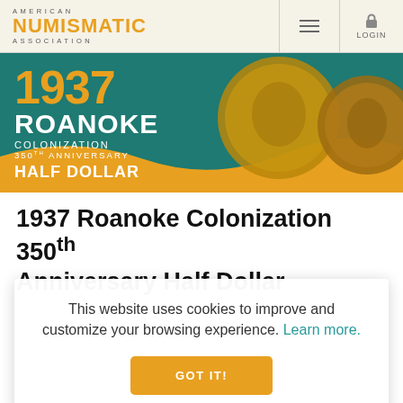AMERICAN NUMISMATIC ASSOCIATION
[Figure (illustration): 1937 Roanoke Colonization 350th Anniversary Half Dollar banner with two coins on teal/gold background]
1937 Roanoke Colonization 350th Anniversary Half Dollar
This website uses cookies to improve and customize your browsing experience. Learn more.
GOT IT!